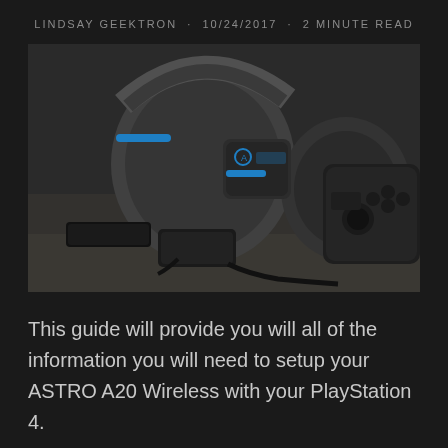LINDSAY GEEKTRON · 10/24/2017 · 2 MINUTE READ
[Figure (photo): Close-up photo of an ASTRO A20 wireless gaming headset with blue LED accents, resting on a surface next to a PlayStation 4 DualShock controller and a USB wireless transmitter dongle. The headset ear cup shows the Astro logo with blue illumination.]
This guide will provide you will all of the information you will need to setup your ASTRO A20 Wireless with your PlayStation 4.